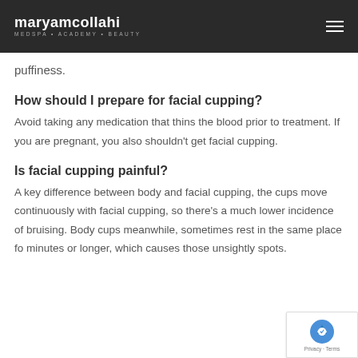maryamcollahi MEDSPA • ACADEMY • BEAUTY
puffiness.
How should I prepare for facial cupping?
Avoid taking any medication that thins the blood prior to treatment. If you are pregnant, you also shouldn't get facial cupping.
Is facial cupping painful?
A key difference between body and facial cupping, the cups move continuously with facial cupping, so there's a much lower incidence of bruising. Body cups meanwhile, sometimes rest in the same place for minutes or longer, which causes those unsightly spots.